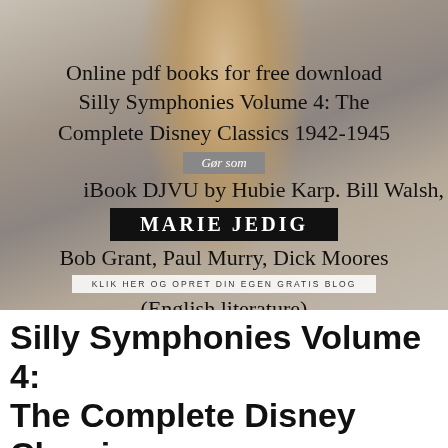[Figure (photo): Photo of a young woman with blonde hair against a gray stone wall background, with overlaid text and banners including 'Online pdf books for free download', 'Silly Symphonies Volume 4: The Complete Disney Classics 1942-1945', 'iBook DJVU by Hubie Karp, Bill Walsh, Bob Grant, Paul Murry, Dick Moores', '(English literature)', a gray banner 'Gør som', a black banner 'MARIE JEDIG', and a white banner 'KLIK HER OG OPRET DIN EGEN GRATIS BLOG']
Silly Symphonies Volume 4: The Complete Disney Classics 1942-1945. Hubie Karp, Bill